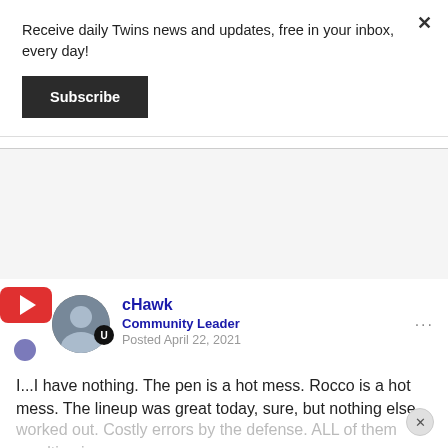Receive daily Twins news and updates, free in your inbox, every day!
Subscribe
cHawk
Community Leader
Posted April 22, 2021
I...I have nothing. The pen is a hot mess. Rocco is a hot mess. The lineup was great today, sure, but nothing else worked out. Costly errors by the defense. ALL of them resulting in runs.